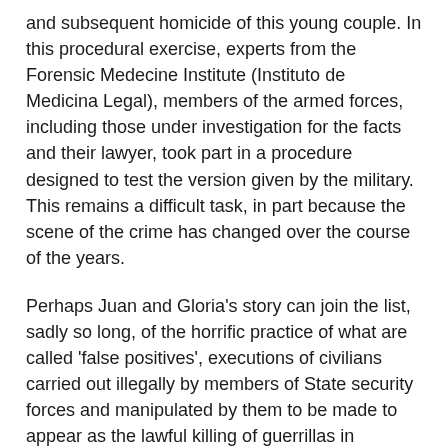and subsequent homicide of this young couple.  In this procedural exercise, experts from the Forensic Medecine Institute (Instituto de Medicina Legal), members of the armed forces, including those under investigation for the facts and their lawyer, took part in a procedure designed to test the version given by the military.  This remains a difficult task, in part because the scene of the crime has changed over the course of the years.
Perhaps Juan and Gloria's story can join the list, sadly so long, of the horrific practice of what are called 'false positives', executions of civilians carried out illegally by members of State security forces and manipulated by them to be made to appear as the lawful killing of guerrillas in combat, with the purpose of "showing results" in the Colombian armed conflict.  Many cases remain invisible and in total impunity.[1]
It is curious and strange, that through the force of the violence they endured and the pain still suffered, we came to know this